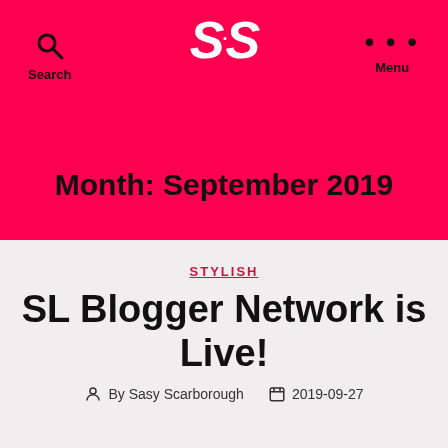S.S — Search — Menu
Month: September 2019
STYLISH
SL Blogger Network is Live!
By Sasy Scarborough  2019-09-27